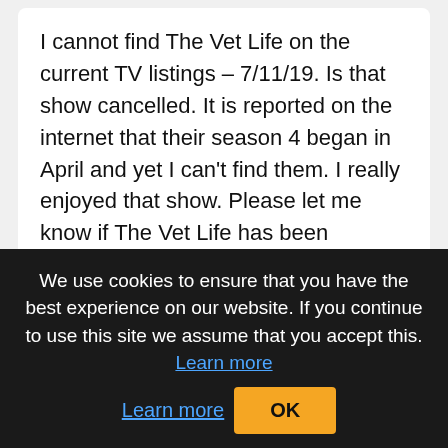I cannot find The Vet Life on the current TV listings – 7/11/19. Is that show cancelled. It is reported on the internet that their season 4 began in April and yet I can't find them. I really enjoyed that show. Please let me know if The Vet Life has been cancelled. Thank you!
Thetesa Mar 28, 2020 at 7:19 pm
Will there be more episodes of Vet life in 2020?
We use cookies to ensure that you have the best experience on our website. If you continue to use this site we assume that you accept this. Learn more OK